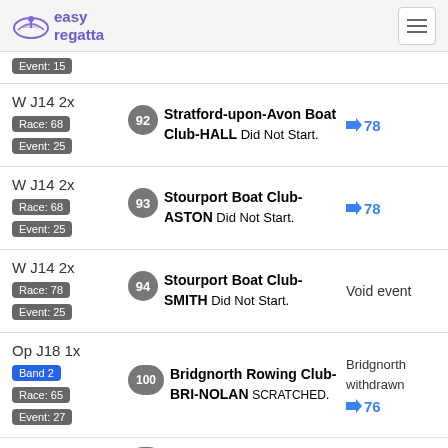easy regatta
Event: 15
W J14 2x | Race: 68 | Event: 25 | #92 Stratford-upon-Avon Boat Club-HALL Did Not Start. | →78
W J14 2x | Race: 68 | Event: 25 | #93 Stourport Boat Club-ASTON Did Not Start. | →78
W J14 2x | Race: 78 | Event: 25 | #94 Stourport Boat Club-SMITH Did Not Start. | Void event
Op J18 1x | Band 2 | Race: 65 | Event: 27 | #100 Bridgnorth Rowing Club-BRI-NOLAN SCRATCHED. | Bridgnorth withdrawn →76
Op J18 1x | Band 2 | #101 Warwick Boat Club-FROUD Progress to race 76. | →76